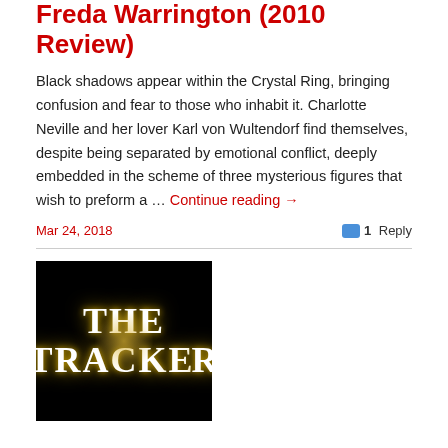Freda Warrington (2010 Review)
Black shadows appear within the Crystal Ring, bringing confusion and fear to those who inhabit it. Charlotte Neville and her lover Karl von Wultendorf find themselves, despite being separated by emotional conflict, deeply embedded in the scheme of three mysterious figures that wish to preform a … Continue reading →
Mar 24, 2018
1 Reply
[Figure (photo): Book cover image on black background showing 'THE TRACKER' in large white serif text with a golden glow effect in the center]